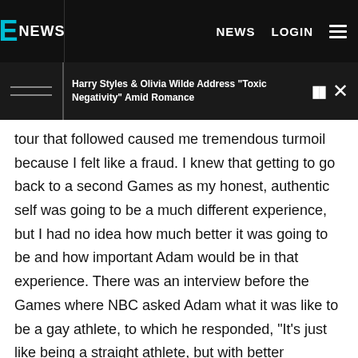E NEWS  NEWS  LOGIN
Harry Styles & Olivia Wilde Address "Toxic Negativity" Amid Romance
tour that followed caused me tremendous turmoil because I felt like a fraud. I knew that getting to go back to a second Games as my honest, authentic self was going to be a much different experience, but I had no idea how much better it was going to be and how important Adam would be in that experience. There was an interview before the Games where NBC asked Adam what it was like to be a gay athlete, to which he responded, "It's just like being a straight athlete, but with better eyebrows." I howled when I saw the quote. Adam being so boldly himself in turn